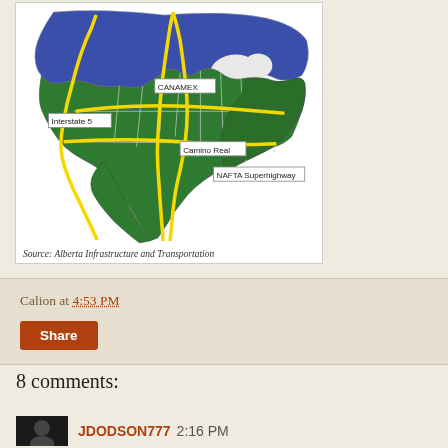[Figure (map): Map of North America showing CANAMEX corridor, Interstate 5, Camino Real, and NAFTA Superhighway routes highlighted in yellow over green US states and blue Canada region.]
Source: Alberta Infrastructure and Transportation
Calion at 4:53 PM
Share
8 comments:
JDODSON777 2:16 PM